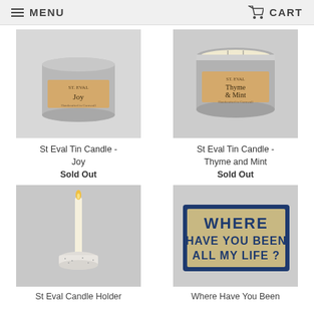MENU  CART
[Figure (photo): St Eval tin candle with silver lid and tan label reading 'Joy' on grey background]
St Eval Tin Candle - Joy
Sold Out
[Figure (photo): St Eval tin candle open with silver rim, tan label reading 'Thyme & Mint' on grey background]
St Eval Tin Candle - Thyme and Mint
Sold Out
[Figure (photo): A single white taper candle in a small speckled ceramic holder on grey background]
St Eval Candle Holder
[Figure (photo): A doormat with navy border and text on tan background reading 'WHERE HAVE YOU BEEN ALL MY LIFE?' in blue block letters]
Where Have You Been